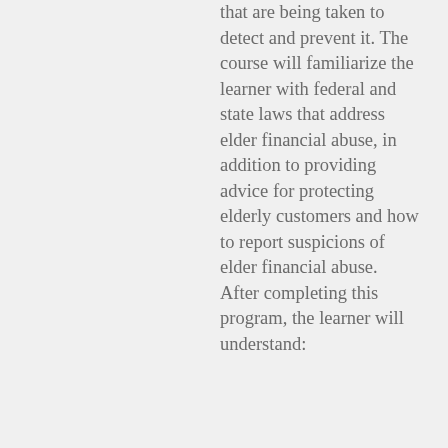that are being taken to detect and prevent it. The course will familiarize the learner with federal and state laws that address elder financial abuse, in addition to providing advice for protecting elderly customers and how to report suspicions of elder financial abuse. After completing this program, the learner will understand: